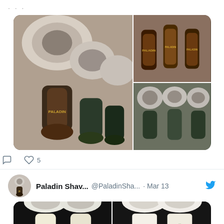[Figure (photo): Collage of shaving brushes with decorative resin handles — one large photo on left showing multiple brushes, two smaller photos on right showing close-ups of handles and bristles]
[Figure (infographic): Social action icons: comment bubble and heart with count '5']
Paladin Shav... @PaladinSha... · Mar 13
[Figure (photo): Collage of four photos showing white/cream-handled shaving brushes with green shamrock/clover decorations and silver-tip badger bristles, on dark background]